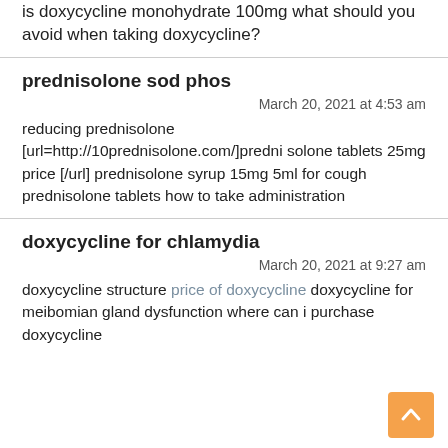is doxycycline monohydrate 100mg what should you avoid when taking doxycycline?
prednisolone sod phos
March 20, 2021 at 4:53 am
reducing prednisolone [url=http://10prednisolone.com/]prednisolone tablets 25mg price [/url] prednisolone syrup 15mg 5ml for cough prednisolone tablets how to take administration
doxycycline for chlamydia
March 20, 2021 at 9:27 am
doxycycline structure price of doxycycline doxycycline for meibomian gland dysfunction where can i purchase doxycycline